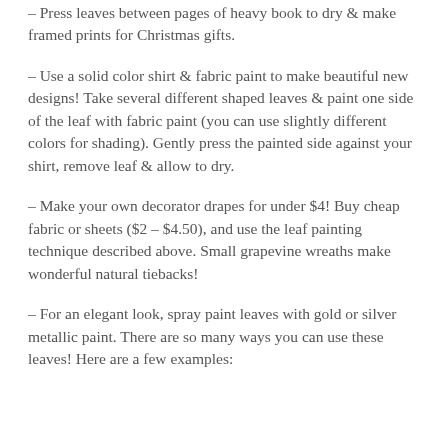– Press leaves between pages of heavy book to dry & make framed prints for Christmas gifts.
– Use a solid color shirt & fabric paint to make beautiful new designs! Take several different shaped leaves & paint one side of the leaf with fabric paint (you can use slightly different colors for shading). Gently press the painted side against your shirt, remove leaf & allow to dry.
– Make your own decorator drapes for under $4! Buy cheap fabric or sheets ($2 – $4.50), and use the leaf painting technique described above. Small grapevine wreaths make wonderful natural tiebacks!
– For an elegant look, spray paint leaves with gold or silver metallic paint. There are so many ways you can use these leaves! Here are a few examples: